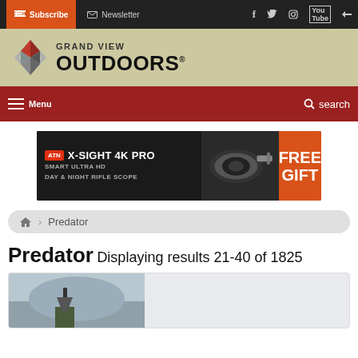Subscribe | Newsletter | social icons
[Figure (logo): Grand View Outdoors logo with diamond/chevron geometric mark in red and grey]
Menu | search navigation bar
[Figure (photo): ATN X-Sight 4K Pro advertisement banner - Smart Ultra HD Day & Night Rifle Scope - Free Gift]
Predator
Predator Displaying results 21-40 of 1825
[Figure (photo): Hunter in camouflage holding rifle in outdoor field setting]